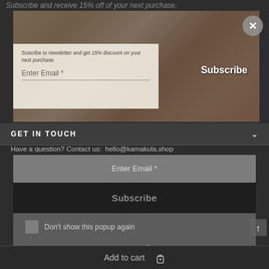Subscribe and receive 15% off of your next purchase.
[Figure (screenshot): Jewelry/bracelets product image with overlay newsletter popup modal showing email subscription form]
Suscribe to newsletter and get 15% discount on your next purchase
Enter  Email *
Subscribe
GET IN TOUCH
Have a question? Contact us:  hello@kamakula.shop
Enter  Email *
Subscribe
Don't show this popup again
Add to cart